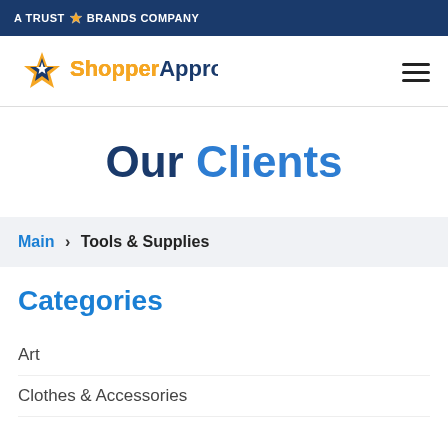A TRUSTBRANDS COMPANY
[Figure (logo): ShopperApproved logo with orange star and navy/orange text]
Our Clients
Main > Tools & Supplies
Categories
Art
Clothes & Accessories